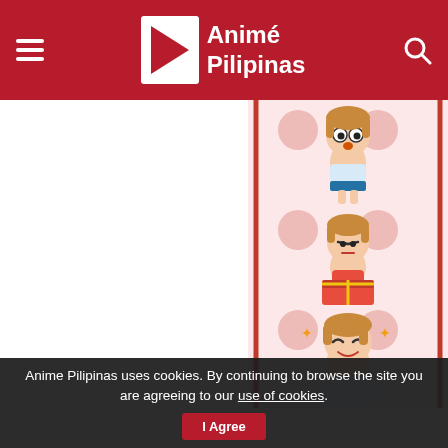Animé Pilipinas
[Figure (illustration): Vertical strip of chibi/anime character illustrations of a brown-haired girl in various poses and expressions, with a decorative pink/red diamond pattern background. Red vertical border lines flank the strip.]
Anime Pilipinas uses cookies. By continuing to browse the site you are agreeing to our use of cookies.